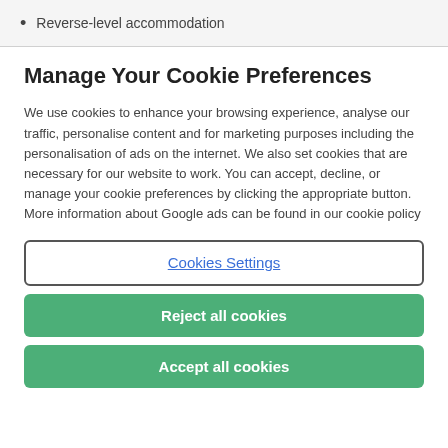Reverse-level accommodation
Manage Your Cookie Preferences
We use cookies to enhance your browsing experience, analyse our traffic, personalise content and for marketing purposes including the personalisation of ads on the internet. We also set cookies that are necessary for our website to work. You can accept, decline, or manage your cookie preferences by clicking the appropriate button. More information about Google ads can be found in our cookie policy
Cookies Settings
Reject all cookies
Accept all cookies